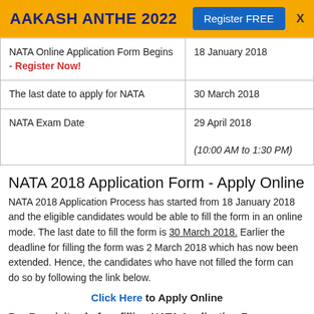AAKASH ANTHE 2022  Register FREE  X
|  |  |
| --- | --- |
| NATA Online Application Form Begins - Register Now! | 18 January 2018 |
| The last date to apply for NATA | 30 March 2018 |
| NATA Exam Date | 29 April 2018
(10:00 AM to 1:30 PM) |
NATA 2018 Application Form - Apply Online
NATA 2018 Application Process has started from 18 January 2018 and the eligible candidates would be able to fill the form in an online mode. The last date to fill the form is 30 March 2018. Earlier the deadline for filling the form was 2 March 2018 which has now been extended. Hence, the candidates who have not filled the form can do so by following the link below.
Click Here to Apply Online
Pre-Requisites before filling NATA Application Form
Photo ID: Candidates must keep their photo ID ready to be uploaded to